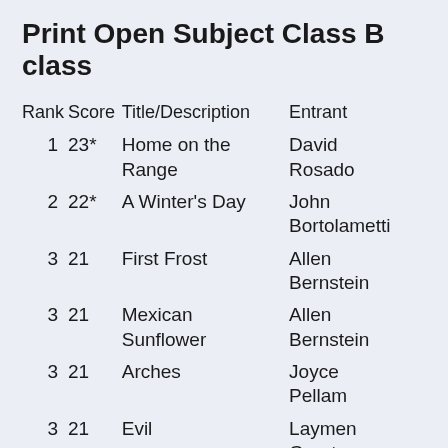Print Open Subject Class B class
| Rank | Score | Title/Description | Entrant |
| --- | --- | --- | --- |
| 1 | 23* | Home on the Range | David Rosado |
| 2 | 22* | A Winter's Day | John Bortolametti |
| 3 | 21 | First Frost | Allen Bernstein |
| 3 | 21 | Mexican Sunflower | Allen Bernstein |
| 3 | 21 | Arches | Joyce Pellam |
| 3 | 21 | Evil | Laymen Grant |
| 3 | 21 | Floral Path | Joyce Pellam |